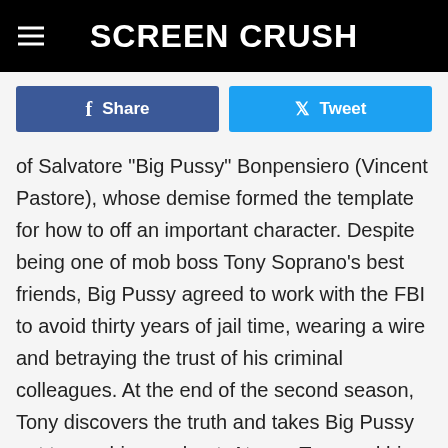SCREEN CRUSH
[Figure (other): Facebook Share button and Twitter Tweet button]
of Salvatore "Big Pussy" Bonpensiero (Vincent Pastore), whose demise formed the template for how to off an important character. Despite being one of mob boss Tony Soprano's best friends, Big Pussy agreed to work with the FBI to avoid thirty years of jail time, wearing a wire and betraying the trust of his criminal colleagues. At the end of the second season, Tony discovers the truth and takes Big Pussy out to see his new boat. At sea, Tony and his partners Silvio and Dante confront him with the truth. Big Pussy tries to talk his way out of his impending death, but soon resigns, requesting that his friends don't shoot him in the face. And then Tony, Dante and Silvio open fire. It's sad angry scene and one of